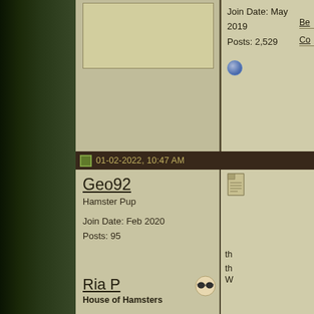[Figure (screenshot): Forum thread screenshot showing user profiles and posts. Left side has dark olive/green textured sidebar. Top area shows partial first post with avatar placeholder, join date May 2019, posts 2529. Middle section shows post by Geo92 dated 01-02-2022 10:47 AM, Hamster Pup rank, joined Feb 2020, 95 posts. Bottom section shows post by Ria P dated 01-02-2022 10:58 AM, House of Hamsters rank.]
Join Date: May 2019
Posts: 2,529
01-02-2022, 10:47 AM
Geo92
Hamster Pup
Join Date: Feb 2020
Posts: 95
01-02-2022, 10:58 AM
Ria P
House of Hamsters